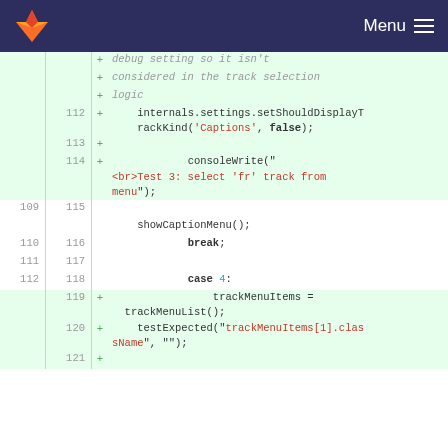Menu (navigation bar with GitLab logo)
[Figure (screenshot): Code diff view showing lines 112-121 with added (green) and unchanged lines. Added lines include internals.settings.setShouldDisplayTrackKind('Captions', false); consoleWrite('<br>Test 3: select fr track from menu'); showCaptionMenu(); break; case 4: trackMenuItems = trackMenuList(); testExpected("trackMenuItems[1].className", "");]